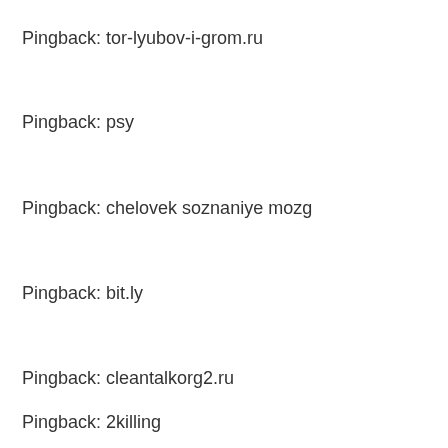Pingback: tor-lyubov-i-grom.ru
Pingback: psy
Pingback: chelovek soznaniye mozg
Pingback: bit.ly
Pingback: cleantalkorg2.ru
Pingback: 2killing